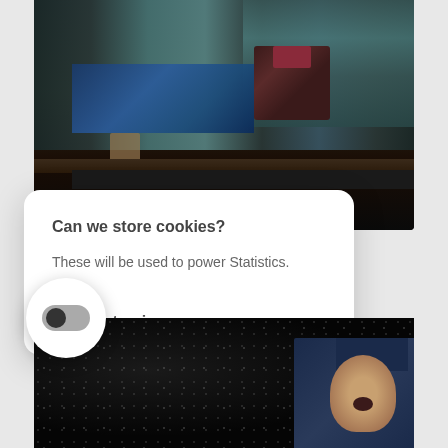[Figure (screenshot): Top: dark theatre/cinema scene with teal curtains, a blue panel, performer silhouette, and image of person in hat on right side. Bottom: dark sparkly background with singer figure at right.]
Can we store cookies?
These will be used to power Statistics.
No, Customize
[Figure (screenshot): Toggle switch (off position) inside a white circular button, overlapping the bottom dark image section.]